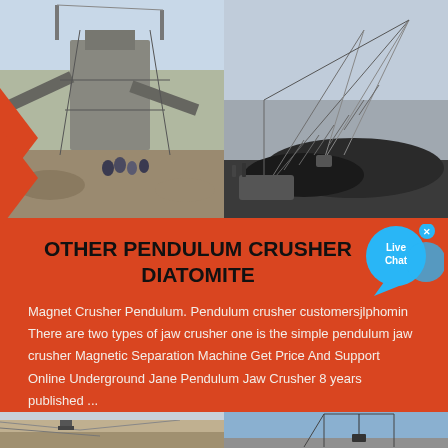[Figure (photo): Two industrial mining/crushing site photos side by side: left shows a jaw crusher plant with workers, right shows a large dragline excavator crane at a mining site]
OTHER PENDULUM CRUSHER DIATOMITE
Magnet Crusher Pendulum. Pendulum crusher customersjlphomin There are two types of jaw crusher one is the simple pendulum jaw crusher Magnetic Separation Machine Get Price And Support Online Underground Jane Pendulum Jaw Crusher 8 years published ...
[Figure (photo): Two more industrial mining site photos at the bottom: left shows an open-pit quarry/excavation, right shows a gantry crane or lifting equipment against blue sky]